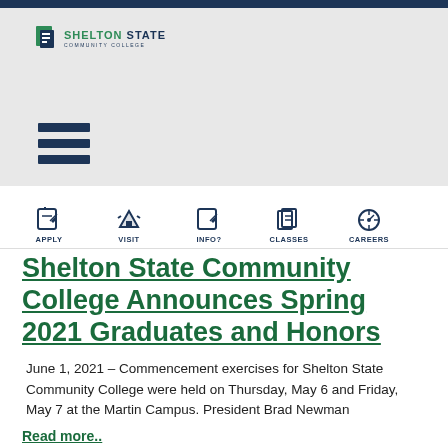[Figure (logo): Shelton State Community College logo with stylized S icon in green and dark navy text]
[Figure (infographic): Hamburger menu icon (three horizontal dark navy bars)]
[Figure (infographic): Navigation bar with icons and labels: APPLY, VISIT, INFO?, CLASSES, CAREERS]
Shelton State Community College Announces Spring 2021 Graduates and Honors
June 1, 2021 – Commencement exercises for Shelton State Community College were held on Thursday, May 6 and Friday, May 7 at the Martin Campus. President Brad Newman
Read more..